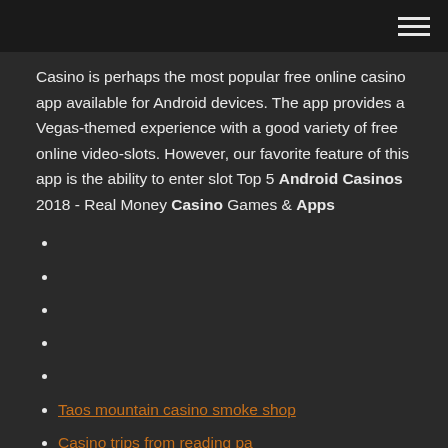Casino is perhaps the most popular free online casino app available for Android devices. The app provides a Vegas-themed experience with a good variety of free online video-slots. However, our favorite feature of this app is the ability to enter slot Top 5 Android Casinos 2018 - Real Money Casino Games & Apps
Taos mountain casino smoke shop
Casino trips from reading pa